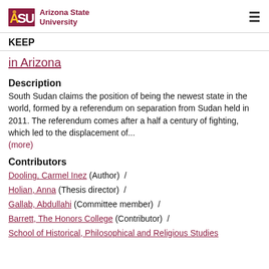ASU Arizona State University
KEEP
in Arizona
Description
South Sudan claims the position of being the newest state in the world, formed by a referendum on separation from Sudan held in 2011. The referendum comes after a half a century of fighting, which led to the displacement of... (more)
Contributors
Dooling, Carmel Inez (Author) /
Holian, Anna (Thesis director) /
Gallab, Abdullahi (Committee member) /
Barrett, The Honors College (Contributor) /
School of Historical, Philosophical and Religious Studies